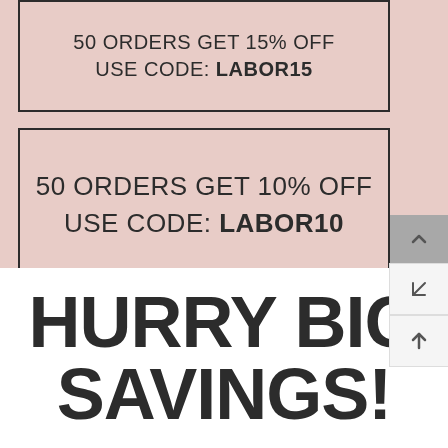50 ORDERS GET 15% OFF USE CODE: LABOR15
50 ORDERS GET 10% OFF USE CODE: LABOR10
HURRY BIG SAVINGS!